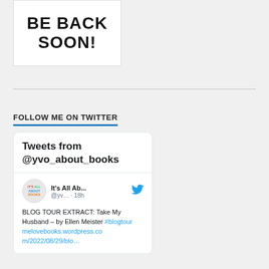[Figure (illustration): White box with bold black text reading 'BE BACK SOON!']
FOLLOW ME ON TWITTER
[Figure (screenshot): Twitter widget showing tweets from @yvo_about_books. A tweet from 'It's All Ab...' (@yv... · 18h) reads: BLOG TOUR EXTRACT: Take My Husband – by Ellen Meister #blogtour melovebooks.wordpress.com/2022/08/29/blo…]